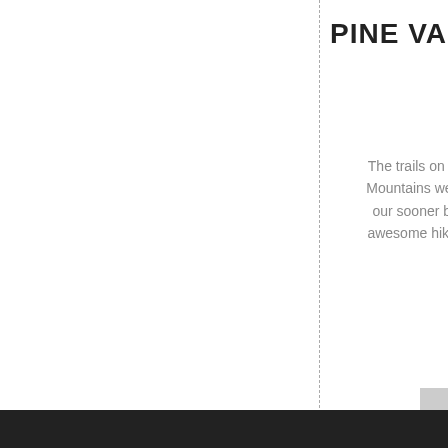PINE VALL
The trails on the w Mountains were so our sooner but ju awesome hike last